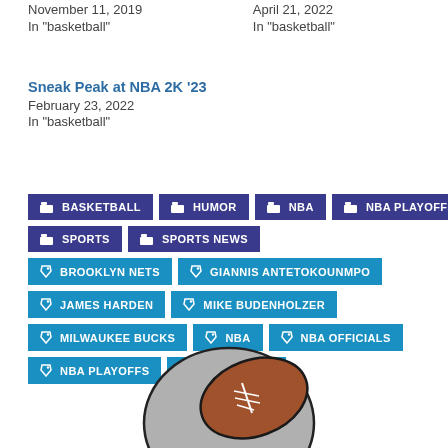In "basketball"
In "basketball"
Sneak Peak at NBA 2K '23
February 23, 2022
In "basketball"
BASKETBALL
HUMOR
NBA
NBA PLAYOFFS
SPORTS
SPORTS NEWS
BROOKLYN NETS
GIANNIS ANTETOKOUNMPO
JAMES HARDEN
MIKE BUDENHOLZER
MILWAUKEE BUCKS
NBA
NBA OFFICIALS
NBA PLAYOFFS
STEVE NASH
[Figure (illustration): Cartoon football/sports ball illustration partially visible at bottom center of page]